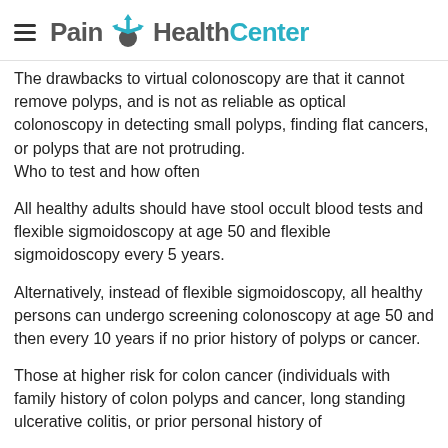Pain HealthCenter
The drawbacks to virtual colonoscopy are that it cannot remove polyps, and is not as reliable as optical colonoscopy in detecting small polyps, finding flat cancers, or polyps that are not protruding.
Who to test and how often
All healthy adults should have stool occult blood tests and flexible sigmoidoscopy at age 50 and flexible sigmoidoscopy every 5 years.
Alternatively, instead of flexible sigmoidoscopy, all healthy persons can undergo screening colonoscopy at age 50 and then every 10 years if no prior history of polyps or cancer.
Those at higher risk for colon cancer (individuals with family history of colon polyps and cancer, long standing ulcerative colitis, or prior personal history of